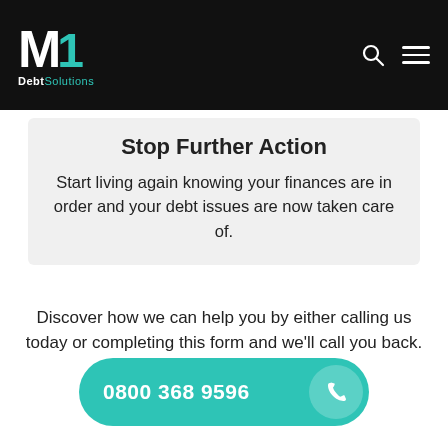M1 Debt Solutions
Stop Further Action
Start living again knowing your finances are in order and your debt issues are now taken care of.
Discover how we can help you by either calling us today or completing this form and we'll call you back.
0800 368 9596